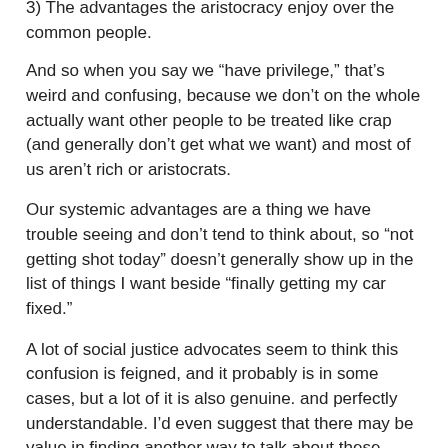3) The advantages the aristocracy enjoy over the common people.
And so when you say we “have privilege,” that’s weird and confusing, because we don’t on the whole actually want other people to be treated like crap (and generally don’t get what we want) and most of us aren’t rich or aristocrats.
Our systemic advantages are a thing we have trouble seeing and don’t tend to think about, so “not getting shot today” doesn’t generally show up in the list of things I want beside “finally getting my car fixed.”
A lot of social justice advocates seem to think this confusion is feigned, and it probably is in some cases, but a lot of it is also genuine. and perfectly understandable. I’d even suggest that there may be value in finding another way to talk about these things.